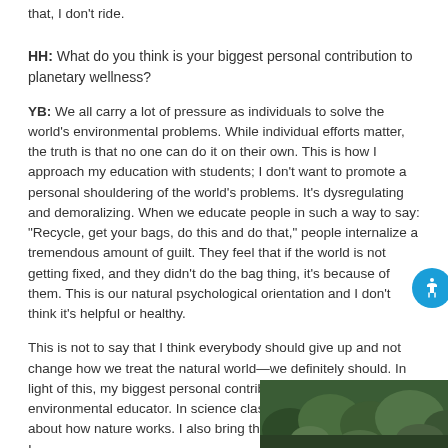that, I don't ride.
HH: What do you think is your biggest personal contribution to planetary wellness?
YB: We all carry a lot of pressure as individuals to solve the world's environmental problems. While individual efforts matter, the truth is that no one can do it on their own. This is how I approach my education with students; I don't want to promote a personal shouldering of the world's problems. It's dysregulating and demoralizing. When we educate people in such a way to say: "Recycle, get your bags, do this and do that," people internalize a tremendous amount of guilt. They feel that if the world is not getting fixed, and they didn't do the bag thing, it's because of them. This is our natural psychological orientation and I don't think it's helpful or healthy.
This is not to say that I think everybody should give up and not change how we treat the natural world—we definitely should. In light of this, my biggest personal contribution is my role as an environmental educator. In science class, I teach my students about how nature works. I also bring them into the garden, where I
[Figure (photo): A garden or nature scene with green foliage, shown in the bottom-right corner of the page.]